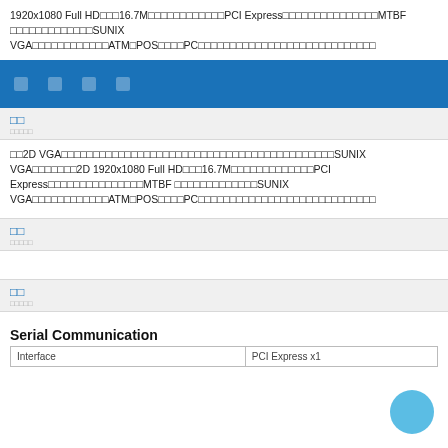1920x1080 Full HD□□□16.7M□□□□□□□□□□□□PCI Express□□□□□□□□□□□□□□□MTBF□□□□□□□□□□□□□SUNIX VGA□□□□□□□□□□□□ATM□POS□□□□PC□□□□□□□□□□□□□□□□□□□□□□□□□□□□
□□
□□2D VGA□□□□□□□□□□□□□□□□□□□□□□□□□□□□□□□□□□□□□□□□□□□SUNIX VGA□□□□□□□2D 1920x1080 Full HD□□□16.7M□□□□□□□□□□□□□PCI Express□□□□□□□□□□□□□□□MTBF□□□□□□□□□□□□□SUNIX VGA□□□□□□□□□□□□ATM□POS□□□□PC□□□□□□□□□□□□□□□□□□□□□□□□□□□□
□□
□□
Serial Communication
| Interface | PCI Express x1 |
| --- | --- |